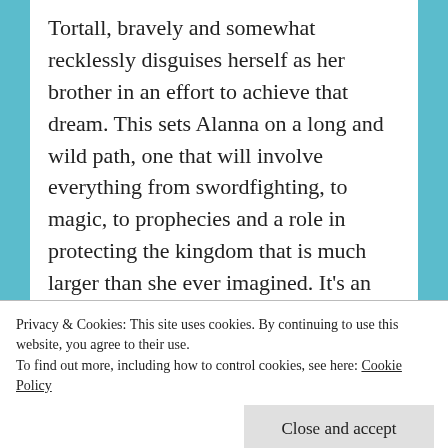Tortall, bravely and somewhat recklessly disguises herself as her brother in an effort to achieve that dream. This sets Alanna on a long and wild path, one that will involve everything from swordfighting, to magic, to prophecies and a role in protecting the kingdom that is much larger than she ever imagined. It’s an epic, wonderful fantasy, and one that I’ve recommended enthusiastically for quite a while.
Privacy & Cookies: This site uses cookies. By continuing to use this website, you agree to their use. To find out more, including how to control cookies, see here: Cookie Policy
Close and accept
maybe nine or ten years old,